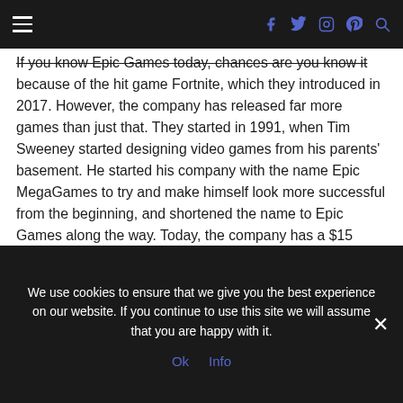≡   [social icons: facebook, twitter, instagram, pinterest, search]
If you know Epic Games today, chances are you know it because of the hit game Fortnite, which they introduced in 2017. However, the company has released far more games than just that. They started in 1991, when Tim Sweeney started designing video games from his parents' basement. He started his company with the name Epic MegaGames to try and make himself look more successful from the beginning, and shortened the name to Epic Games along the way. Today, the company has a $15 billion valuation.
Qualtrics
We use cookies to ensure that we give you the best experience on our website. If you continue to use this site we will assume that you are happy with it.